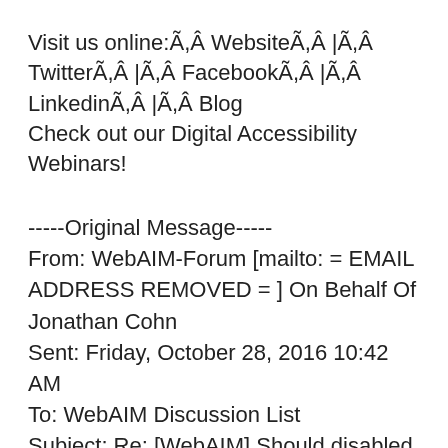Visit us online:Ã,Â WebsiteÃ,Â |Ã,Â TwitterÃ,Â |Ã,Â FacebookÃ,Â |Ã,Â LinkedinÃ,Â |Ã,Â Blog
Check out our Digital Accessibility Webinars!
-----Original Message-----
From: WebAIM-Forum [mailto: = EMAIL ADDRESS REMOVED = ] On Behalf Of Jonathan Cohn
Sent: Friday, October 28, 2016 10:42 AM
To: WebAIM Discussion List
Subject: Re: [WebAIM] Should disabled elements receive tab focus
So in the situation where there are two combo-boxes and a submit button on a page, and the second combo box has no choices until the first